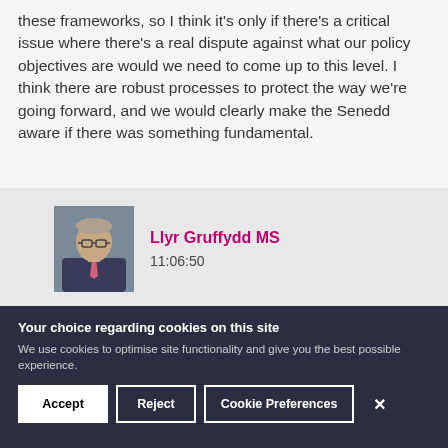these frameworks, so I think it's only if there's a critical issue where there's a real dispute against what our policy objectives are would we need to come up to this level. I think there are robust processes to protect the way we're going forward, and we would clearly make the Senedd aware if there was something fundamental.
[Figure (photo): Headshot of Llyr Gruffydd MS, a man wearing glasses and a pink tie with a dark suit jacket]
Llyr Gruffydd MS
11:06:50
Your choice regarding cookies on this site
We use cookies to optimise site functionality and give you the best possible experience.
Accept | Reject | Cookie Preferences | ×